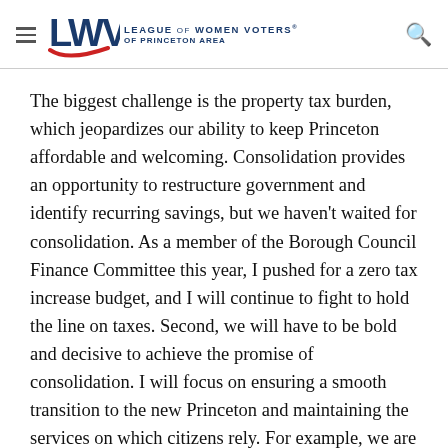LWV LEAGUE OF WOMEN VOTERS OF PRINCETON AREA
The biggest challenge is the property tax burden, which jeopardizes our ability to keep Princeton affordable and welcoming. Consolidation provides an opportunity to restructure government and identify recurring savings, but we haven't waited for consolidation. As a member of the Borough Council Finance Committee this year, I pushed for a zero tax increase budget, and I will continue to fight to hold the line on taxes. Second, we will have to be bold and decisive to achieve the promise of consolidation. I will focus on ensuring a smooth transition to the new Princeton and maintaining the services on which citizens rely. For example, we are scrubbing transitions costs in order to pursue all possible efficiencies and undertaking only